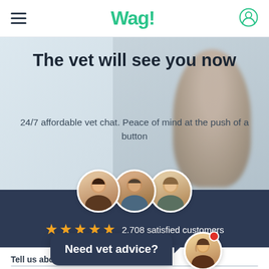Wag!
The vet will see you now
24/7 affordable vet chat. Peace of mind at the push of a button
[Figure (infographic): Three circular avatar photos of veterinarians, five gold stars, and text: 2,708 satisfied customers on a dark navy background]
Tell us about your pet
[Figure (screenshot): Dark navy speech bubble saying 'Need vet advice?' with a circular female avatar photo and red notification dot]
Pet name
Breed (type to search)